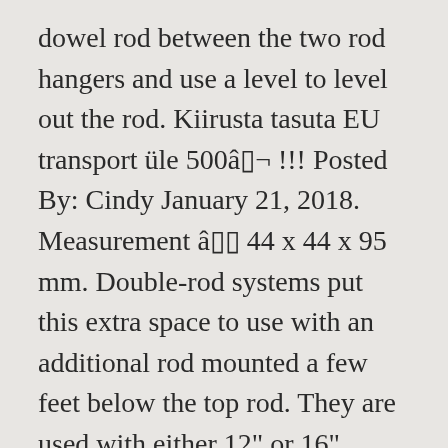dowel rod between the two rod hangers and use a level to level out the rod. Kiirusta tasuta EU transport üle 500â□¬ !!! Posted By: Cindy January 21, 2018. Measurement â□□ 44 x 44 x 95 mm. Double-rod systems put this extra space to use with an additional rod mounted a few feet below the top rod. They are used with either 12" or 16" ventilated shelf brackets. Terrific Elfa Closet Rod Holder Installation. Secured in brackets with slots for closet rod holder. for your [â□¦] Then measure and mark the closet rod at that measurement then cut the rod to size. 15. Closet rod holder frame-wall. Installed under solid shelf or in the ceiling for extra holding support of closet